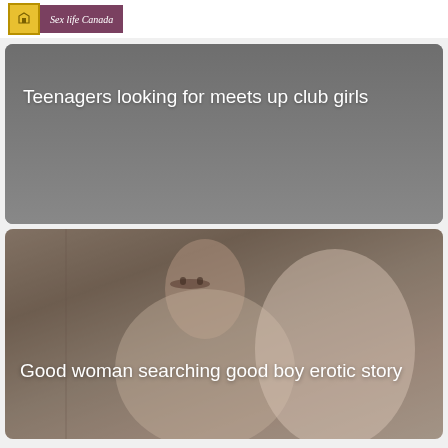Sex life Canada
[Figure (photo): Grey background card with white text overlay]
Teenagers looking for meets up club girls
[Figure (photo): Woman with glasses lying down, semi-transparent overlay]
Good woman searching good boy erotic story